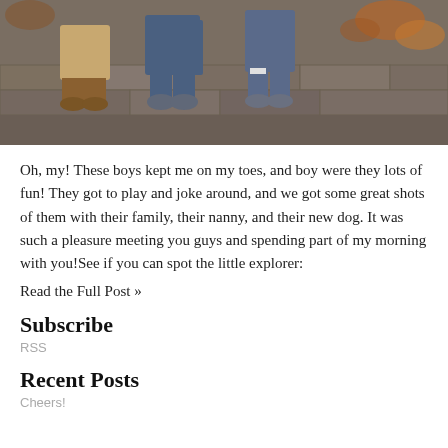[Figure (photo): Three boys sitting on a stone wall, showing their legs and feet from about waist down. The leftmost wears tan pants and brown boots, the middle wears jeans with casual shoes, the rightmost wears jeans with gray sneakers. Autumn leaves visible in background.]
Oh, my! These boys kept me on my toes, and boy were they lots of fun! They got to play and joke around, and we got some great shots of them with their family, their nanny, and their new dog. It was such a pleasure meeting you guys and spending part of my morning with you!See if you can spot the little explorer:
Read the Full Post »
Subscribe
RSS
Recent Posts
Cheers!